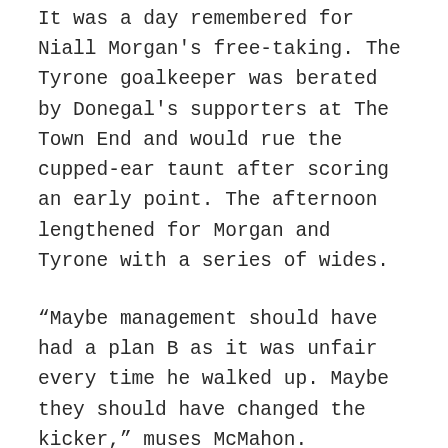It was a day remembered for Niall Morgan's free-taking. The Tyrone goalkeeper was berated by Donegal's supporters at The Town End and would rue the cupped-ear taunt after scoring an early point. The afternoon lengthened for Morgan and Tyrone with a series of wides.
“Maybe management should have had a plan B as it was unfair every time he walked up. Maybe they should have changed the kicker,” muses McMahon.
“That affected Niall. We knew the quality he possessed, but it was a difficult situation, Donegal supporters were chipping away and chanting at him. That